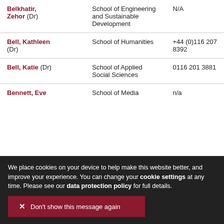| Name | School | Phone |
| --- | --- | --- |
| Belkhatir, Zehor (Dr) | School of Engineering and Sustainable Development | N/A |
| Bell, Kathleen (Dr) | School of Humanities | +44 (0)116 207 8392 |
| Bell, Katie (Dr) | School of Applied Social Sciences | 0116 201 3881 |
| Bennett, Eve | School of Media | n/a |
We place cookies on your device to help make this website better, and improve your experience. You can change your cookie settings at any time. Please see our data protection policy for full details.
Don't show this message again